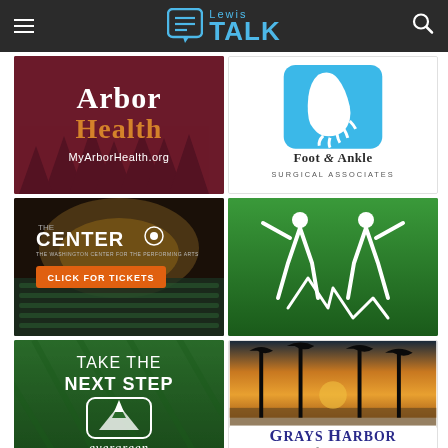Lewis TALK
[Figure (logo): Arbor Health advertisement - dark red background with Arbor Health logo in white and orange text, MyArborHealth.org, stylized pine trees silhouette]
[Figure (logo): Foot & Ankle Surgical Associates advertisement - blue foot icon with foot and ankle x-ray style image, text Foot & Ankle Surgical Associates]
[Figure (photo): The Washington Center for the Performing Arts ad - theater interior with golden decor, orange CLICK FOR TICKETS button, THE CENTER logo]
[Figure (logo): Green background with white silhouette figures raising arms, chiropractic or health related]
[Figure (logo): Evergreen advertisement - green background, TAKE THE NEXT STEP text, Evergreen logo with mountain and tree icon]
[Figure (photo): Grays Harbor Unforgettable - sunset beach photo with silhouetted trees, Grays Harbor Unforgettable! text below]